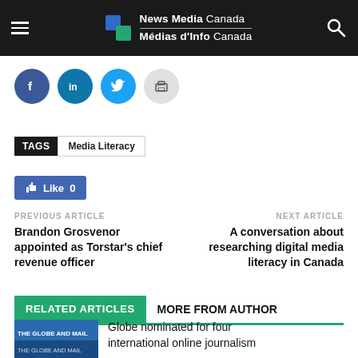News Media Canada | Médias d'Info Canada
[Figure (infographic): Social share buttons: Facebook, LinkedIn, Twitter, Print]
TAGS  Media Literacy
[Figure (infographic): Facebook Like button showing 0 likes]
PREVIOUS ARTICLE
Brandon Grosvenor appointed as Torstar's chief revenue officer
NEXT ARTICLE
A conversation about researching digital media literacy in Canada
RELATED ARTICLES  MORE FROM AUTHOR
Globe nominated for four international online journalism